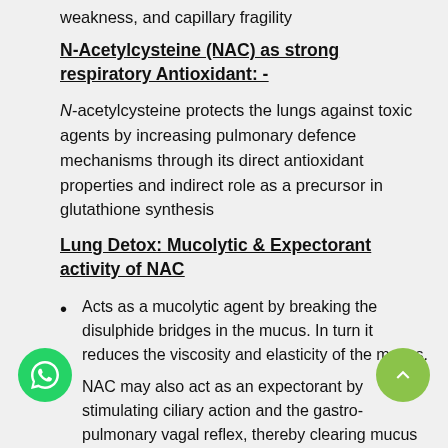weakness, and capillary fragility
N-Acetylcysteine (NAC) as strong respiratory Antioxidant: -
N-acetylcysteine protects the lungs against toxic agents by increasing pulmonary defence mechanisms through its direct antioxidant properties and indirect role as a precursor in glutathione synthesis
Lung Detox: Mucolytic & Expectorant activity of NAC
Acts as a mucolytic agent by breaking the disulphide bridges in the mucus. In turn it reduces the viscosity and elasticity of the mucus.
NAC may also act as an expectorant by stimulating ciliary action and the gastro-pulmonary vagal reflex, thereby clearing mucus from the airways.
Chest tonic in conditions of hypermucos secretion